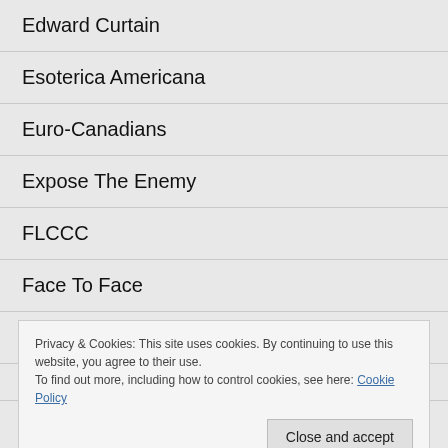Edward Curtain
Esoterica Americana
Euro-Canadians
Expose The Enemy
FLCCC
Face To Face
First Things
Privacy & Cookies: This site uses cookies. By continuing to use this website, you agree to their use.
To find out more, including how to control cookies, see here: Cookie Policy
FriendOfPacepa